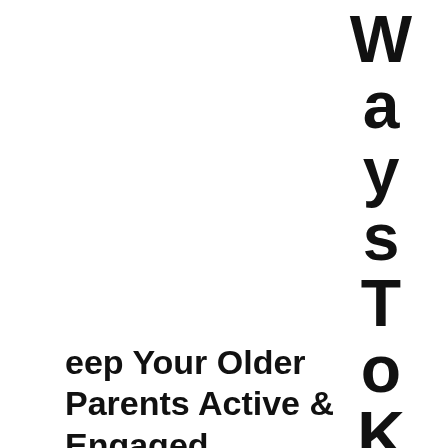Ways To Keep Your Older Parents Active & Engaged
Keeping older parents active is key to better overall health and wellbeing. The COVID-19 pandemic has brought a massive shift to our